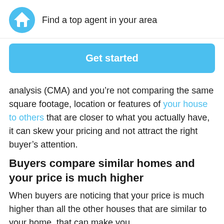Find a top agent in your area
Get started
analysis (CMA) and you’re not comparing the same square footage, location or features of your house to others that are closer to what you actually have, it can skew your pricing and not attract the right buyer’s attention.
Buyers compare similar homes and your price is much higher
When buyers are noticing that your price is much higher than all the other houses that are similar to your home, that can make you